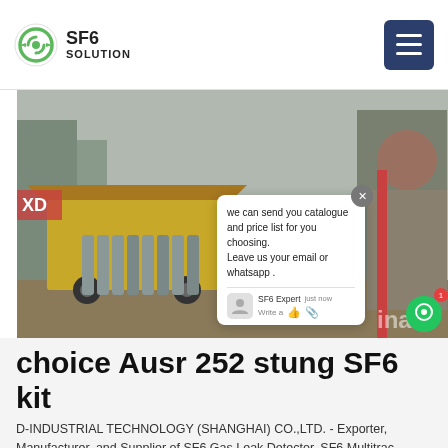SF6 SOLUTION
[Figure (photo): Yellow truck with gas cylinders at an industrial/electrical substation site. A chat popup overlay is visible with message: 'we can send you catalogue and price list for you choosing. Leave us your email or whatsapp .']
choice Ausr 252 stung SF6 kit
D-INDUSTRIAL TECHNOLOGY (SHANGHAI) CO.,LTD. - Exporter, Manufacturer, and Supplier of SF6 Gas Leak Detector, SF6 Multitrac Analyzer and